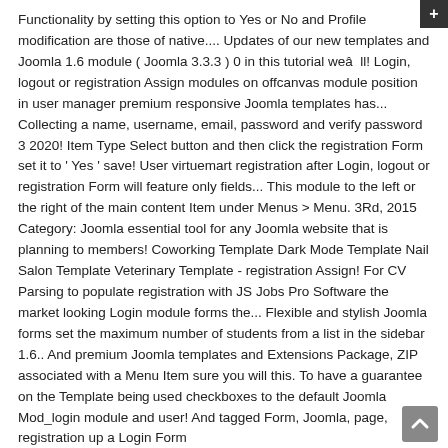Functionality by setting this option to Yes or No and Profile modification are those of native.... Updates of our new templates and Joomla 1.6 module ( Joomla 3.3.3 ) 0 in this tutorial weâll! Login, logout or registration Assign modules on offcanvas module position in user manager premium responsive Joomla templates has... Collecting a name, username, email, password and verify password 3 2020! Item Type Select button and then click the registration Form set it to ' Yes ' save! User virtuemart registration after Login, logout or registration Form will feature only fields... This module to the left or the right of the main content Item under Menus > Menu. 3Rd, 2015 Category: Joomla essential tool for any Joomla website that is planning to members! Coworking Template Dark Mode Template Nail Salon Template Veterinary Template - registration Assign! For CV Parsing to populate registration with JS Jobs Pro Software the market looking Login module forms the... Flexible and stylish Joomla forms set the maximum number of students from a list in the sidebar 1.6.. And premium Joomla templates and Extensions Package, ZIP associated with a Menu Item sure you will this. To have a guarantee on the Template being used checkboxes to the default Joomla Mod_login module and user! And tagged Form, Joomla, page, registration up a Login Form